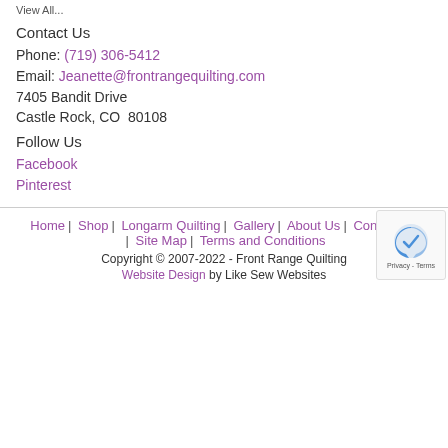View All...
Contact Us
Phone: (719) 306-5412
Email: Jeanette@frontrangequilting.com
7405 Bandit Drive
Castle Rock, CO  80108
Follow Us
Facebook
Pinterest
Home | Shop | Longarm Quilting | Gallery | About Us | Contact Us | Site Map | Terms and Conditions
Copyright © 2007-2022 - Front Range Quilting
Website Design by Like Sew Websites